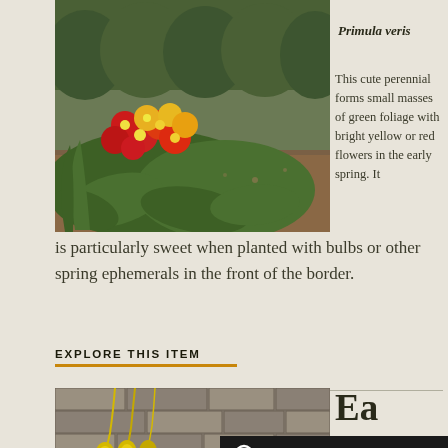[Figure (photo): Cowslip plant with red and yellow flowers and green foliage in a garden bed]
Primula veris
This cute perennial forms small masses of green foliage with bright yellow or red flowers in the early spring. It is particularly sweet when planted with bulbs or other spring ephemerals in the front of the border.
EXPLORE THIS ITEM
[Figure (photo): Yellow flowers (possibly early spring blooms) against a stone wall background, partially visible]
Ea...
Lo...
English